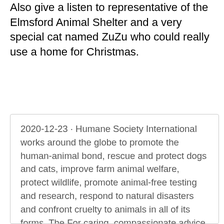Also give a listen to representative of the Elmsford Animal Shelter and a very special cat named ZuZu who could really use a home for Christmas.
2020-12-23 · Humane Society International works around the globe to promote the human-animal bond, rescue and protect dogs and cats, improve farm animal welfare, protect wildlife, promote animal-free testing and research, respond to natural disasters and confront cruelty to animals in all of its forms. The For caring, compassionate advice and resources to address all your animal concerns. The Spokane Humane Society invests on average about $750.00 into every animal we rescue.